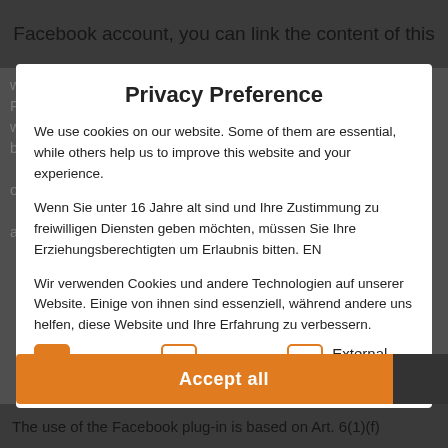Facebook account, you can link the content of this
Privacy Preference
We use cookies on our website. Some of them are essential, while others help us to improve this website and your experience.
Wenn Sie unter 16 Jahre alt sind und Ihre Zustimmung zu freiwilligen Diensten geben möchten, müssen Sie Ihre Erziehungsberechtigten um Erlaubnis bitten. EN
Wir verwenden Cookies und andere Technologien auf unserer Website. Einige von ihnen sind essenziell, während andere uns helfen, diese Website und Ihre Erfahrung zu verbessern. Personenbezogene Daten können verarbeitet werden (z. B. IP-Adressen), z. B. für personalisierte Anzeigen und Inhalte oder
Essential
Statistics
External Media
Accept all
The use of the Facebook plug-in is based on Art. 6(1)(f)